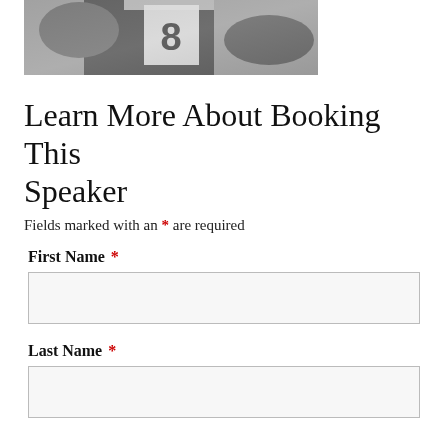[Figure (photo): Black and white photo of a football player wearing jersey number 8, cropped at the top of the page]
Learn More About Booking This Speaker
Fields marked with an * are required
First Name *
Last Name *